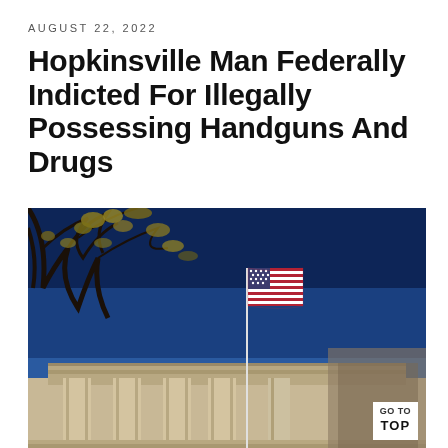AUGUST 22, 2022
Hopkinsville Man Federally Indicted For Illegally Possessing Handguns And Drugs
[Figure (photo): Low-angle view of a neoclassical government building with large columns and an American flag on a flagpole against a deep blue sky, with bare tree branches visible in the upper left corner.]
GO TO TOP